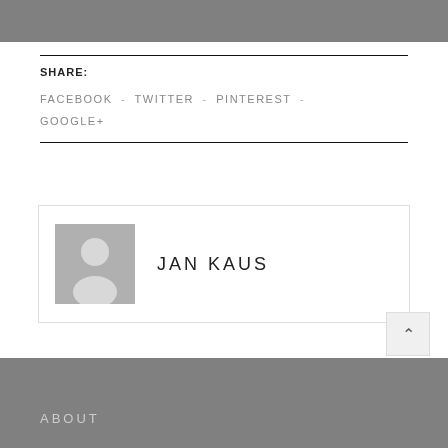SHARE:
FACEBOOK - TWITTER - PINTEREST - GOOGLE+
[Figure (illustration): Author avatar placeholder — gray square with white silhouette of a person]
JAN KAUS
ABOUT